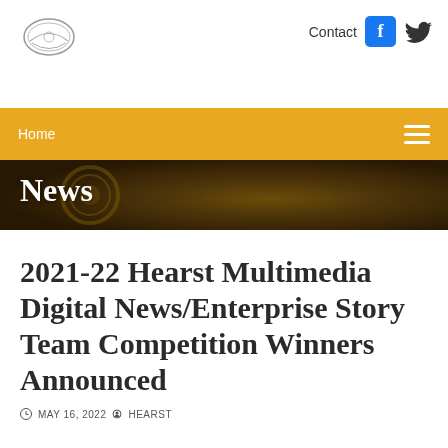Contact
[Figure (logo): University seal/logo in circular form]
Home
[Figure (photo): Hero image of award medals with dark overlay and 'News' text overlay]
2021-22 Hearst Multimedia Digital News/Enterprise Story Team Competition Winners Announced
MAY 16, 2022   HEARST